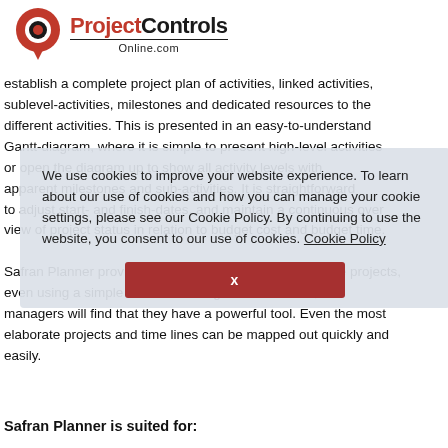[Figure (logo): ProjectControls Online.com logo with red circular P icon]
establish a complete project plan of activities, linked activities, sublevel-activities, milestones and dedicated resources to the different activities. This is presented in an easy-to-understand Gantt-diagram, where it is simple to present high-level activities or open the diagram up to show all activity levels with apparent milestones and sub-activities. It is straightforward to adjust start- and finish-dates, and maintain a continuous overview of project status in relation to budget cost and budget time. Safran Planner provides a simple way to plan and update projects, even using a simple interface. Using Safran Planner, managers will find that they have a powerful tool. Even the most elaborate projects and time lines can be mapped out quickly and easily.
We use cookies to improve your website experience. To learn about our use of cookies and how you can manage your cookie settings, please see our Cookie Policy. By continuing to use the website, you consent to our use of cookies. Cookie Policy
Safran Planner is suited for: